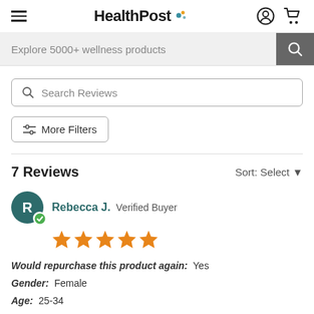HealthPost
Explore 5000+ wellness products
Search Reviews
More Filters
7 Reviews   Sort: Select
Rebecca J.  Verified Buyer
★★★★★
Would repurchase this product again: Yes
Gender: Female
Age: 25-34